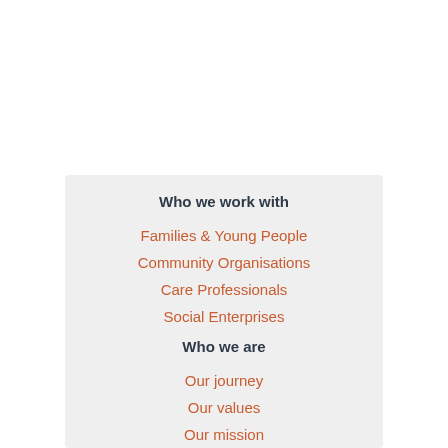Who we work with
Families & Young People
Community Organisations
Care Professionals
Social Enterprises
Who we are
Our journey
Our values
Our mission